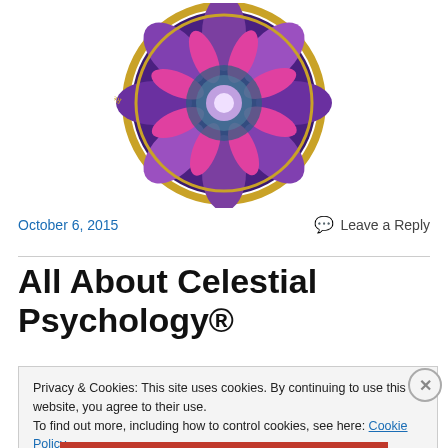[Figure (logo): Circular mandala/logo with purple and pink floral design, gold border, text reading 'Reconnecting Where Body & Mind Meet Spirit']
October 6, 2015
Leave a Reply
All About Celestial Psychology®
Privacy & Cookies: This site uses cookies. By continuing to use this website, you agree to their use.
To find out more, including how to control cookies, see here: Cookie Policy
Close and accept